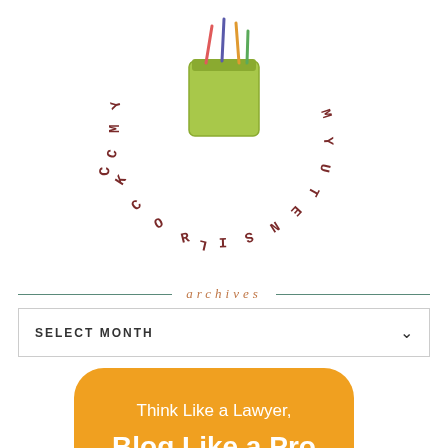[Figure (logo): My Utensil Crock logo with a green utensil holder jar and text arranged in a circle around it reading MY UTENSIL CROCK]
archives
[Figure (other): SELECT MONTH dropdown box with chevron]
[Figure (infographic): Orange speech bubble with text 'Think Like a Lawyer, Blog Like a Pro - A practical guide to navigating copyrights, trademarks, and more on the web' and a green speech bubble below saying 'Buy the eBook now!']